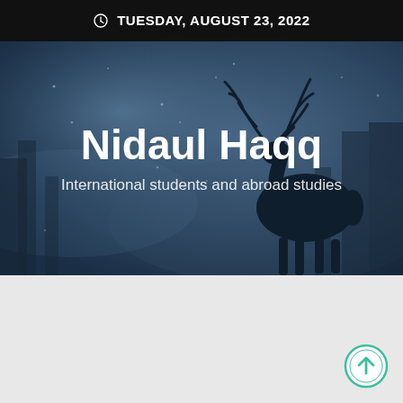TUESDAY, AUGUST 23, 2022
Nidaul Haqq
International students and abroad studies
[Figure (illustration): Dark blue moody background with silhouette of a deer/elk with antlers against a misty forest scene]